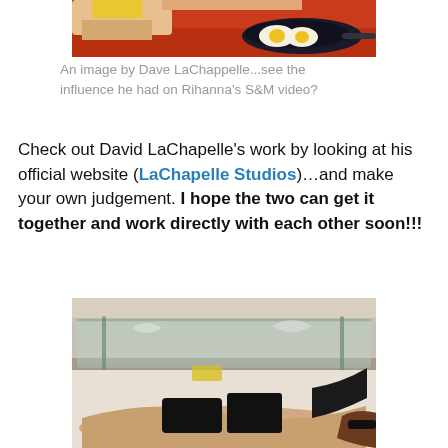[Figure (photo): Cropped top portion of a David LaChappelle artwork showing a red background with a black frying pan containing fried eggs, and a figure's hands/body partially visible]
An image by Dave LaChappelle...see the influence he had on Rihanna's S&M video?
Check out David LaChapelle's work by looking at his official website (LaChapelle Studios)…and make your own judgement. I hope the two can get it together and work directly with each other soon!!!
[Figure (photo): A David LaChappelle photograph showing a woman in black lingerie lying on the floor beneath a glass coffee table, with a sofa visible in the background]